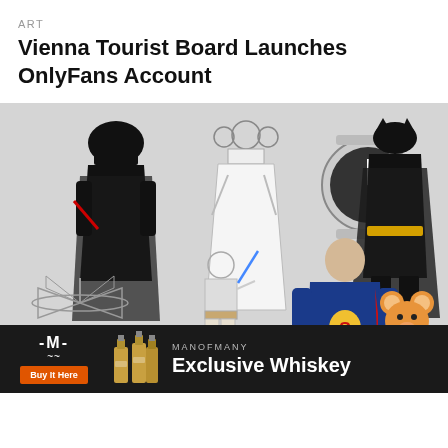ART
Vienna Tourist Board Launches OnlyFans Account
[Figure (photo): Collage of action figures and toys on a grey background: Darth Vader, Princess Leia, a watch, Batman, X-Wing fighter, Luke Skywalker, Superman, Jerry (Tom and Jerry), and a Batmobile toy car.]
[Figure (infographic): Advertisement banner for Man of Many Exclusive Whiskey with orange 'Buy It Here' button and whiskey bottle images.]